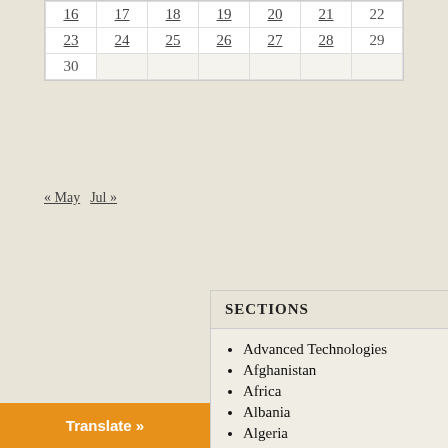| Sun | Mon | Tue | Wed | Thu | Fri | Sat |
| --- | --- | --- | --- | --- | --- | --- |
| 16 | 17 | 18 | 19 | 20 | 21 | 22 |
| 23 | 24 | 25 | 26 | 27 | 28 | 29 |
| 30 |  |  |  |  |  |  |
« May   Jul »
SECTIONS
Advanced Technologies
Afghanistan
Africa
Albania
Algeria
American Empire
Analysis
Ancient World
Architecture
Translate »